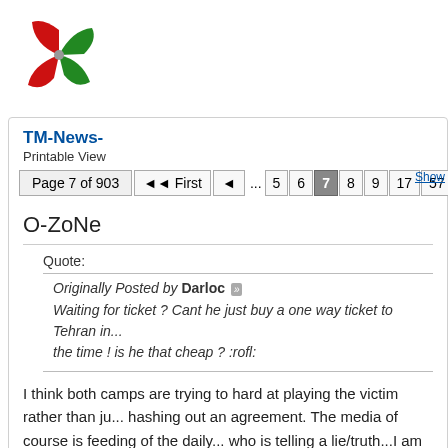[Figure (logo): TM (TeamMelli or similar) red-green fan logo, circular pinwheel style]
TM-News-
Printable View
Page 7 of 903  First  ...  5  6  7  8  9  17  57  107  507  ...  Show
O-ZoNe
Quote:
Originally Posted by Darloc
Waiting for ticket ? Cant he just buy a one way ticket to Tehran in... the time ! is he that cheap ? :rofl:
I think both camps are trying to hard at playing the victim rather than ju... hashing out an agreement. The media of course is feeding of the daily... who is telling a lie/truth...I am at a point where I think the relationship is... renewal of a contract at this stage in the game is likely going to do noth...